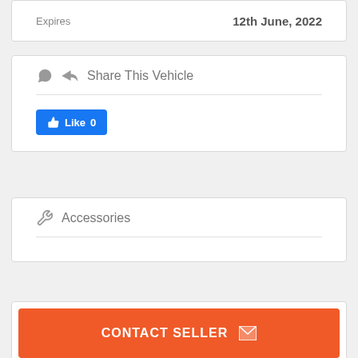Expires   12th June, 2022
Share This Vehicle
[Figure (other): Facebook Like button showing Like 0]
Accessories
CONTACT SELLER